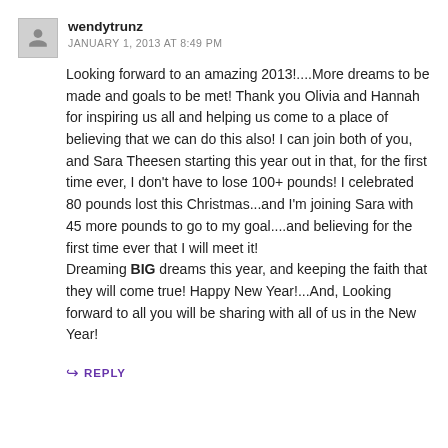wendytrunz
JANUARY 1, 2013 AT 8:49 PM
Looking forward to an amazing 2013!....More dreams to be made and goals to be met! Thank you Olivia and Hannah for inspiring us all and helping us come to a place of believing that we can do this also! I can join both of you, and Sara Theesen starting this year out in that, for the first time ever, I don't have to lose 100+ pounds! I celebrated 80 pounds lost this Christmas...and I'm joining Sara with 45 more pounds to go to my goal....and believing for the first time ever that I will meet it!
Dreaming BIG dreams this year, and keeping the faith that they will come true! Happy New Year!...And, Looking forward to all you will be sharing with all of us in the New Year!
↳ REPLY